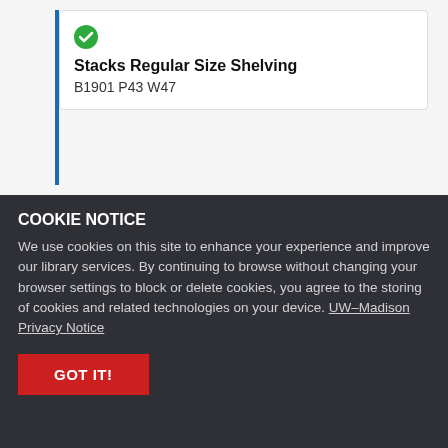Stacks Regular Size Shelving
B1901 P43 W47
© Publication Details
COOKIE NOTICE
We use cookies on this site to enhance your experience and improve our library services. By continuing to browse without changing your browser settings to block or delete cookies, you agree to the storing of cookies and related technologies on your device. UW–Madison Privacy Notice
GOT IT!